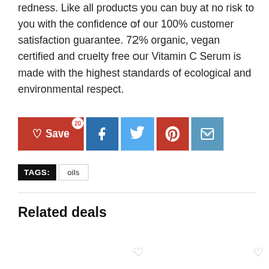redness. Like all products you can buy at no risk to you with the confidence of our 100% customer satisfaction guarantee. 72% organic, vegan certified and cruelty free our Vitamin C Serum is made with the highest standards of ecological and environmental respect.
[Figure (other): Social sharing buttons row: Save (with heart icon and badge 20), Facebook, Twitter, Pinterest, Email]
TAGS: oils
Related deals
[Figure (other): Related deals product images area with two heart/wishlist icons at the bottom]